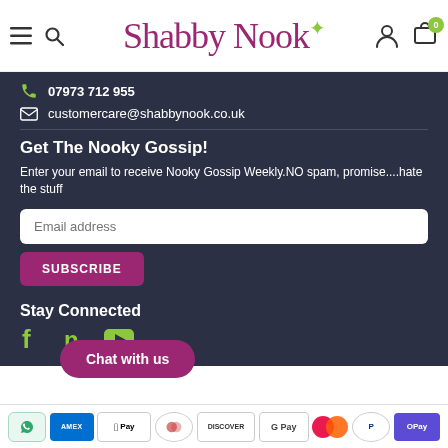[Figure (logo): Shabby Nook cursive logo in purple/magenta with a green spark/leaf accent, plus hamburger menu, search, user, and cart icons]
07973 712 955
customercare@shabbynook.co.uk
Get The Nooky Gossip!
Enter your email to receive Nooky Gossip Weekly.NO spam, promise....hate the stuff
Email address
SUBSCRIBE
Stay Connected
[Figure (infographic): Social media icons: Facebook (f), Pinterest (p), YouTube play button, all in olive/yellow-green color]
Chat with us
[Figure (infographic): Row of payment method logos: Relay, Amex, Apple Pay, Diners, Discover, Google Pay, Maestro circles, PayPal, OPay]